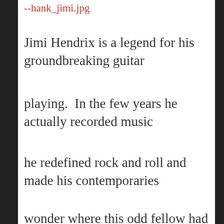--hank_jimi.jpg
Jimi Hendrix is a legend for his groundbreaking guitar playing.  In the few years he actually recorded music he redefined rock and roll and made his contemporaries wonder where this odd fellow had come from. He also wrote some of the most interesting lyrics, poetic